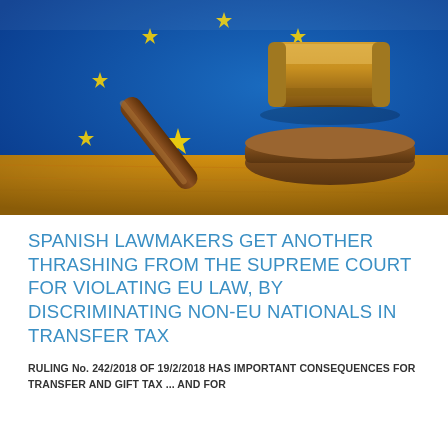[Figure (photo): A judge's wooden gavel resting on a sound block on a wooden surface, with a blue European Union flag featuring yellow stars in the background. The image conveys legal authority in a European context.]
SPANISH LAWMAKERS GET ANOTHER THRASHING FROM THE SUPREME COURT FOR VIOLATING EU LAW, BY DISCRIMINATING NON-EU NATIONALS IN TRANSFER TAX
RULING No. 242/2018 OF 19/2/2018 HAS IMPORTANT CONSEQUENCES FOR TRANSFER AND GIFT TAX ... AND FOR